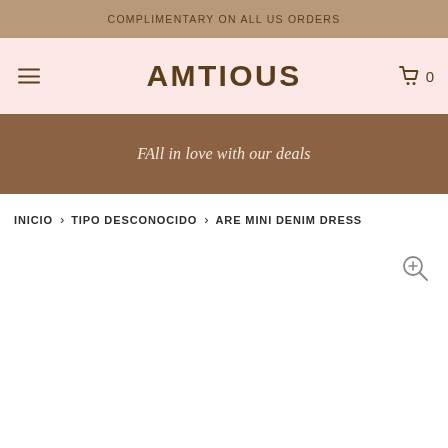COMPLIMENTARY ON ALL US ORDERS
AMTIOUS
FAll in love with our deals
INICIO > TIPO DESCONOCIDO > ARE MINI DENIM DRESS